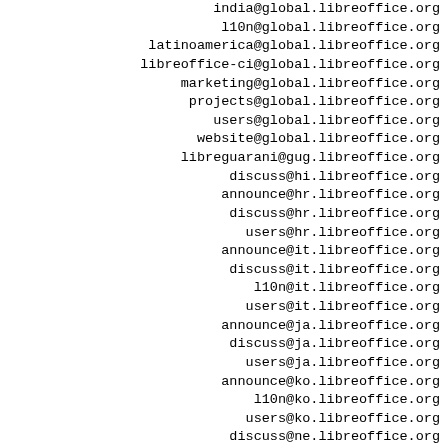india@global.libreoffice.org
l10n@global.libreoffice.org
latinoamerica@global.libreoffice.org
libreoffice-ci@global.libreoffice.org
marketing@global.libreoffice.org
projects@global.libreoffice.org
users@global.libreoffice.org
website@global.libreoffice.org
libreguarani@gug.libreoffice.org
discuss@hi.libreoffice.org
announce@hr.libreoffice.org
discuss@hr.libreoffice.org
users@hr.libreoffice.org
announce@it.libreoffice.org
discuss@it.libreoffice.org
l10n@it.libreoffice.org
users@it.libreoffice.org
announce@ja.libreoffice.org
discuss@ja.libreoffice.org
users@ja.libreoffice.org
announce@ko.libreoffice.org
l10n@ko.libreoffice.org
users@ko.libreoffice.org
discuss@ne.libreoffice.org
announce@nl.libreoffice.org